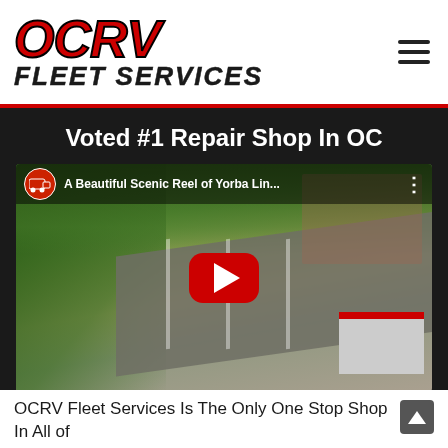[Figure (logo): OCRV Fleet Services logo in red and black]
Voted #1 Repair Shop In OC
[Figure (screenshot): YouTube video thumbnail showing aerial view of Yorba Linda with title 'A Beautiful Scenic Reel of Yorba Lin...' and a red play button in the center]
OCRV Fleet Services Is The Only One Stop Shop In All of Southern California! We Service Everything!